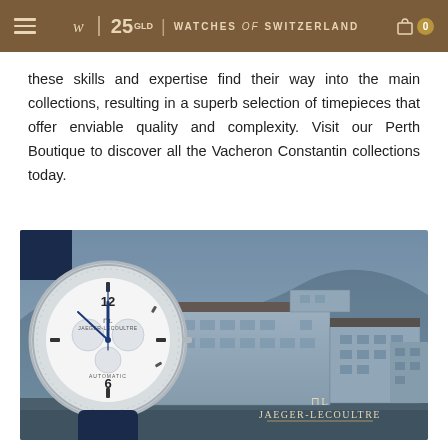Watches of Switzerland
these skills and expertise find their way into the main collections, resulting in a superb selection of timepieces that offer enviable quality and complexity. Visit our Perth Boutique to discover all the Vacheron Constantin collections today.
[Figure (photo): Composite image showing a Jaeger-LeCoultre chronograph watch with white dial and blue hands on a dark leather strap overlaid on a photo of the Jaeger-LeCoultre manufacture building in the Swiss valley, with the Jaeger-LeCoultre logo in cream/gold text at the bottom right.]